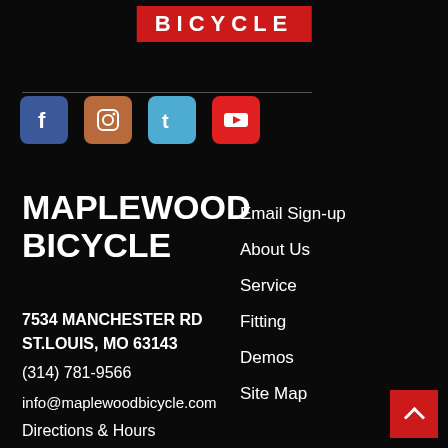BICYCLE
[Figure (logo): Red rectangle logo with white bold text 'BICYCLE' in wide letter-spacing]
[Figure (infographic): Row of social media icons: Facebook (blue), Instagram (brown/orange), Twitter (blue), YouTube (red)]
MAPLEWOOD BICYCLE
7534 MANCHESTER RD
ST.LOUIS, MO 63143
(314) 781-9566
info@maplewoodbicycle.com
Directions & Hours
Email Sign-up
About Us
Service
Fitting
Demos
Site Map